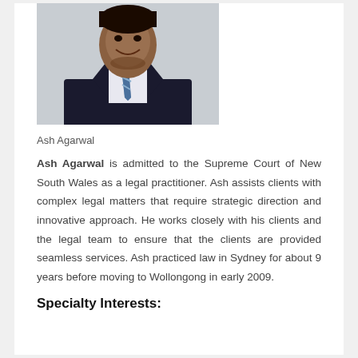[Figure (photo): Professional headshot photo of Ash Agarwal, a man in a dark suit with a patterned tie, smiling, against a light background.]
Ash Agarwal
Ash Agarwal is admitted to the Supreme Court of New South Wales as a legal practitioner. Ash assists clients with complex legal matters that require strategic direction and innovative approach. He works closely with his clients and the legal team to ensure that the clients are provided seamless services. Ash practiced law in Sydney for about 9 years before moving to Wollongong in early 2009.
Specialty Interests: